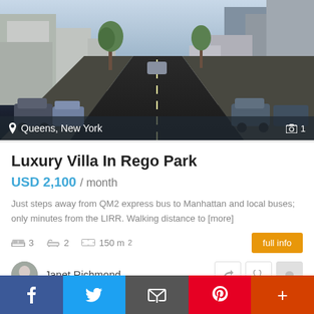[Figure (photo): Street-level photo of a San Francisco-style steep urban street with cars parked on both sides, trees, and city buildings visible in the distance. Location overlay shows Queens, New York.]
Luxury Villa In Rego Park
USD 2,100 / month
Just steps away from QM2 express bus to Manhattan and local buses; only minutes from the LIRR. Walking distance to [more]
3  2  150 m²
Janet Richmond
f  (Twitter bird)  (envelope)  p  +